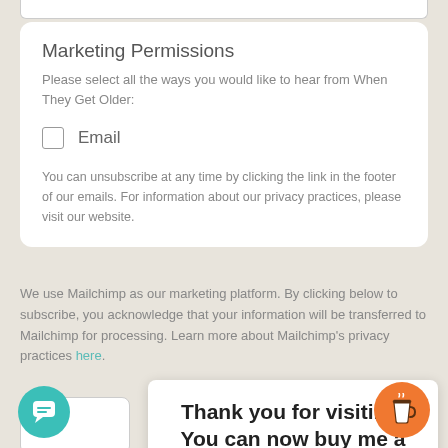Marketing Permissions
Please select all the ways you would like to hear from When They Get Older:
☐ Email
You can unsubscribe at any time by clicking the link in the footer of our emails. For information about our privacy practices, please visit our website.
We use Mailchimp as our marketing platform. By clicking below to subscribe, you acknowledge that your information will be transferred to Mailchimp for processing. Learn more about Mailchimp's privacy practices here.
Thank you for visiting. You can now buy me a coffee!